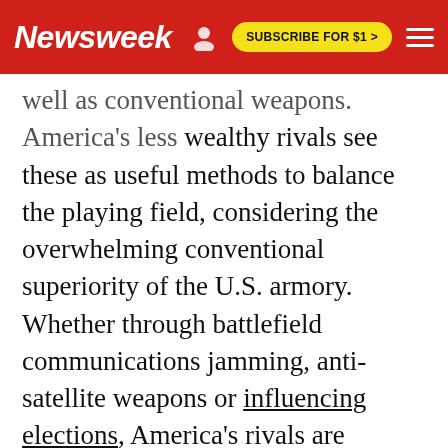Newsweek | SUBSCRIBE FOR $1 >
well as conventional weapons. America's less wealthy rivals see these as useful methods to balance the playing field, considering the overwhelming conventional superiority of the U.S. armory. Whether through battlefield communications jamming, anti-satellite weapons or influencing elections, America's rivals are multiplying the ways in which they can attack.